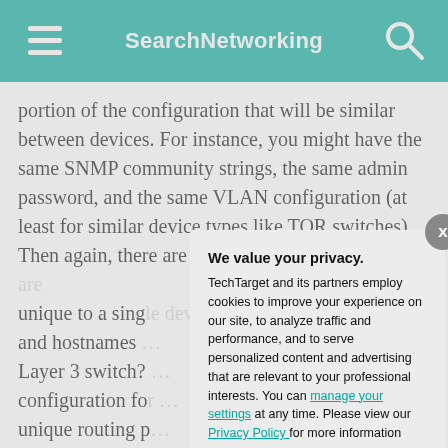SearchNetworking
portion of the configuration that will be similar between devices. For instance, you might have the same SNMP community strings, the same admin password, and the same VLAN configuration (at least for similar device types like TOR switches). Then again, there are also probably some p[artial text continues...] unique to a sing[le device, such as IP addresses] and hostnames [and potentially the routing on a] Layer 3 switch? [There is typically a common] configuration fo[r each device type, plus] unique routing p[arameters specific to] where that devic[e sits, and those unique] parameters go to[ward making configuration] consuming, and [templates can help.] Templates allow [you to define a base] configuration, a[nd have certain parts] filled in for each [device.]
We value your privacy. TechTarget and its partners employ cookies to improve your experience on our site, to analyze traffic and performance, and to serve personalized content and advertising that are relevant to your professional interests. You can manage your settings at any time. Please view our Privacy Policy for more information